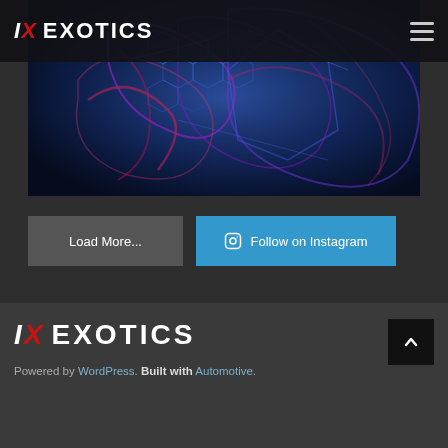IX EXOTICS
[Figure (photo): Dark blue and purple abstract car engine/body close-up with dramatic lighting and textured surface details]
Load More...
Follow on Instagram
IX EXOTICS
Powered by WordPress. Built with Automotive.